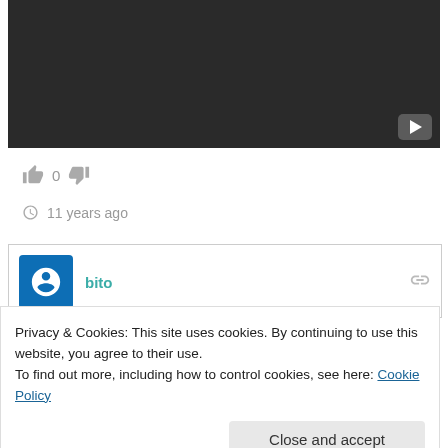[Figure (screenshot): Dark video thumbnail with a YouTube-style play button in the bottom-right corner]
👍 0 👎
🕐 11 years ago
[Figure (screenshot): Comment section header showing user avatar (blue square with power icon), username 'bito', and a link icon]
Privacy & Cookies: This site uses cookies. By continuing to use this website, you agree to their use.
To find out more, including how to control cookies, see here: Cookie Policy
Close and accept
might argue that racism is against our religion, and that